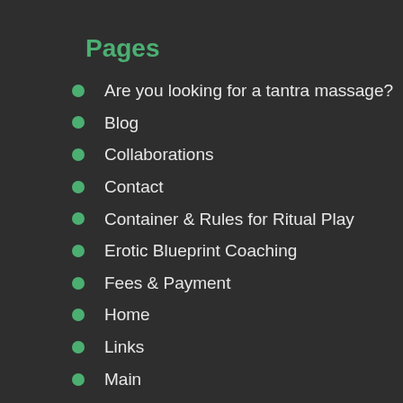Pages
Are you looking for a tantra massage?
Blog
Collaborations
Contact
Container & Rules for Ritual Play
Erotic Blueprint Coaching
Fees & Payment
Home
Links
Main
Marina Kronkvist
Passport for sex tourism in Finland...